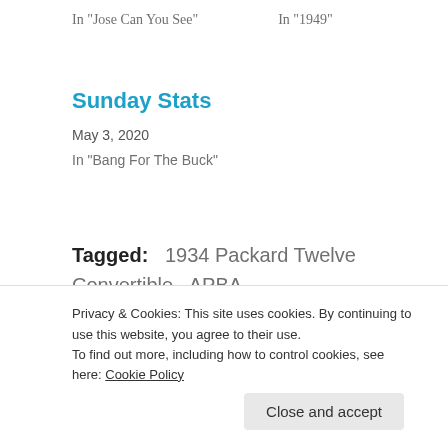In "Jose Can You See"    In "1949"
Sunday Stats
May 3, 2020
In "Bang For The Buck"
Tagged:   1934 Packard Twelve Convertible,  APBA,  In Or Out?,  Lou Brock
Published by rulesoflogic
Privacy & Cookies: This site uses cookies. By continuing to use this website, you agree to their use.
To find out more, including how to control cookies, see here: Cookie Policy